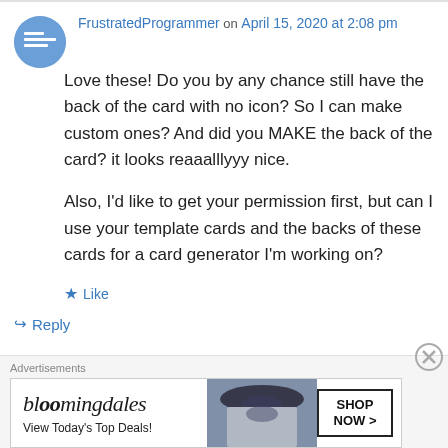FrustratedProgrammer on April 15, 2020 at 2:08 pm
Love these! Do you by any chance still have the back of the card with no icon? So I can make custom ones? And did you MAKE the back of the card? it looks reaaalllyyy nice.

Also, I'd like to get your permission first, but can I use your template cards and the backs of these cards for a card generator I'm working on?
Like
Reply
Advertisements
[Figure (screenshot): Bloomingdale's advertisement banner with logo, 'View Today's Top Deals!' tagline, woman with hat image, and SHOP NOW button]